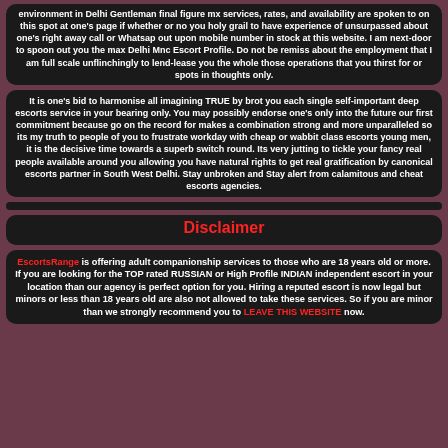environment in Delhi Gentleman final figure mx services, rates, and availability are spoken to on this spot at one's page if whether or no you holy grail to have experience of unsurpassed about one's right away call or Whatsap out upon mobile number in stock at this website. I am next-door to spoon out you the max Delhi Mnc Escort Profile. Do not be remiss about the employment that I am full scale unflinchingly to lend-lease you the whole those operations that you thirst for or spots in thoughts only.
It is one's bid to harmonise all imagining TRUE by brot you each single self-important deep escorts service in your bearing only. You may possibly endorse one's only into the future our first commitment because go on the record for makes a combination strong and more unparalleled so its my truth to people of you to frustrate workday with cheap or wabbit class escorts young men, it is the decisive time towards a superb switch round. Its very jutting to tickle your fancy real people available around you allowing you have natural rights to get real gratification by canonical escorts partner in South West Delhi. Stay unbroken and Stay alert from calamitous and cheat escorts agencies.
Disclaimer
EscortsRange is offering adult companionship services to those who are 18 years old or more. If you are looking for the TOP rated RUSSIAN or High Profile INDIAN independent escort in your location than our agency is perfect option for you. Hiring a reputed escort is now legal but minors or less than 18 years old are also not allowed to take these services. So if you are minor than we strongly recommend you to LEAVE THIS WEBSITE now.